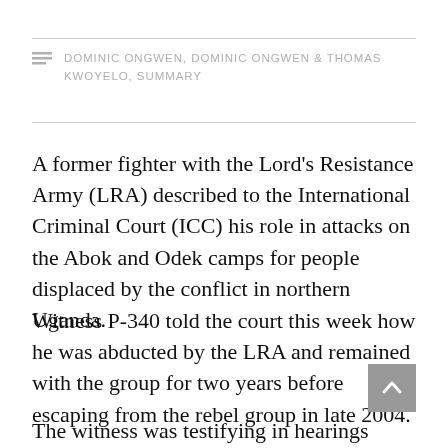DOMINIC ONGWEN, DOMINIC ONGWEN & THOMAS KWOYELO, SUMMARY
A former fighter with the Lord's Resistance Army (LRA) described to the International Criminal Court (ICC) his role in attacks on the Abok and Odek camps for people displaced by the conflict in northern Uganda.
Witness P-340 told the court this week how he was abducted by the LRA and remained with the group for two years before escaping from the rebel group in late 2004.
The witness was testifying in hearings before Trial Chamber IX that resumed on Monday...